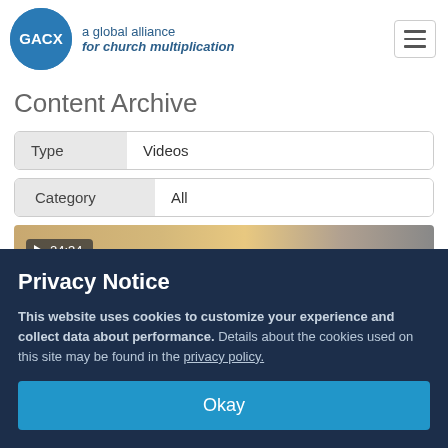[Figure (logo): GACX logo: blue circle with GACX text, beside text 'a global alliance for church multiplication']
Content Archive
| Type | Videos |
| --- | --- |
| Category | All |
| --- | --- |
[Figure (screenshot): Video thumbnail with duration badge showing 24:34]
Privacy Notice
This website uses cookies to customize your experience and collect data about performance. Details about the cookies used on this site may be found in the privacy policy.
Okay